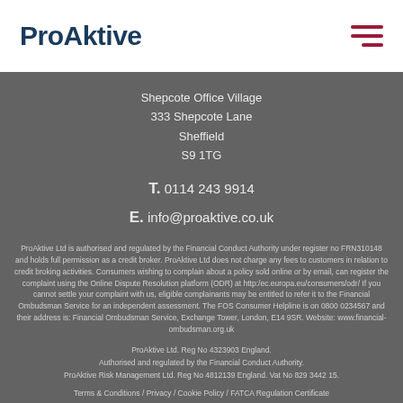[Figure (logo): ProAktive company logo in dark blue bold text]
Shepcote Office Village
333 Shepcote Lane
Sheffield
S9 1TG
T. 0114 243 9914
E. info@proaktive.co.uk
ProAktive Ltd is authorised and regulated by the Financial Conduct Authority under register no FRN310148 and holds full permission as a credit broker. ProAktive Ltd does not charge any fees to customers in relation to credit broking activities. Consumers wishing to complain about a policy sold online or by email, can register the complaint using the Online Dispute Resolution platform (ODR) at http:/ec.europa.eu/consumers/odr/ If you cannot settle your complaint with us, eligible complainants may be entitled to refer it to the Financial Ombudsman Service for an independent assessment. The FOS Consumer Helpline is on 0800 0234567 and their address is: Financial Ombudsman Service, Exchange Tower, London, E14 9SR. Website: www.financial-ombudsman.org.uk
ProAktive Ltd. Reg No 4323903 England.
Authorised and regulated by the Financial Conduct Authority.
ProAktive Risk Management Ltd. Reg No 4812139 England. Vat No 829 3442 15.
Terms & Conditions / Privacy / Cookie Policy / FATCA Regulation Certificate